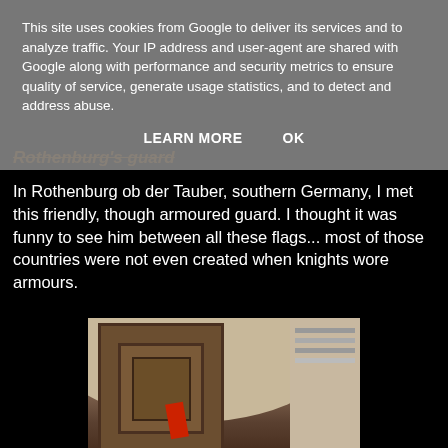This site uses cookies from Google to deliver its services and to analyze traffic. Your IP address and user-agent are shared with Google along with performance and security metrics to ensure quality of service, generate usage statistics, and to detect and address abuse.
LEARN MORE   OK
Rothenburg's guard
In Rothenburg ob der Tauber, southern Germany, I met this friendly, though armoured guard. I thought it was funny to see him between all these flags... most of those countries were not even created when knights wore armours.
[Figure (photo): A photo showing a wooden door or cabinet with ornate paneling, with a red flag or cloth visible at the bottom, and a lighter architectural element on the right side.]